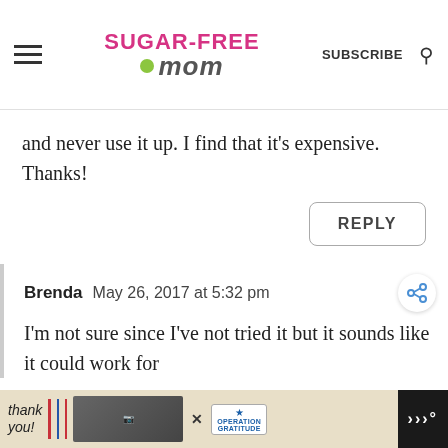Sugar-Free Mom — SUBSCRIBE
and never use it up. I find that it's expensive. Thanks!
REPLY
Brenda  May 26, 2017 at 5:32 pm
I'm not sure since I've not tried it but it sounds like it could work for
[Figure (screenshot): Advertisement banner: 'Thank you!' with Operation Gratitude logo and firefighter photo]